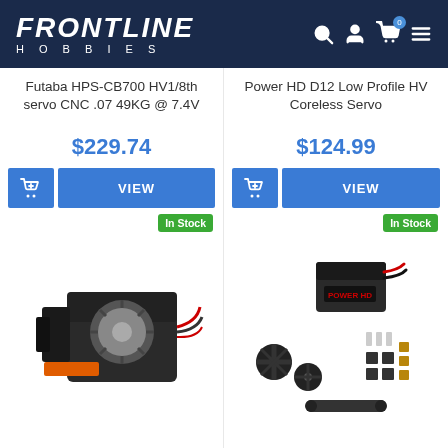FRONTLINE HOBBIES
Futaba HPS-CB700 HV1/8th servo CNC .07 49KG @ 7.4V
$229.74
VIEW
Power HD D12 Low Profile HV Coreless Servo
$124.99
VIEW
[Figure (photo): Futaba HPS-CB700 servo motor with metal gears, black casing, In Stock badge]
[Figure (photo): Power HD D12 Low Profile HV Coreless Servo with accessories, In Stock badge]